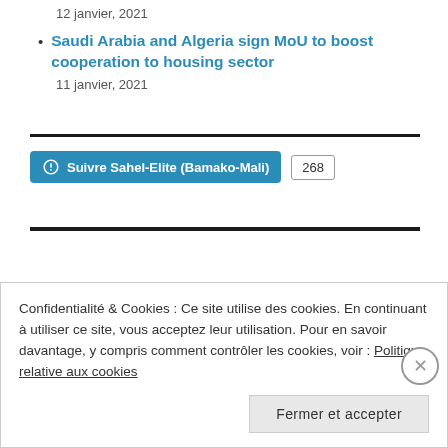Saudi Arabia and Algeria sign MoU to boost cooperation to housing sector
11 janvier, 2021
Suivre Sahel-Elite (Bamako-Mali) 268
Confidentialité & Cookies : Ce site utilise des cookies. En continuant à utiliser ce site, vous acceptez leur utilisation. Pour en savoir davantage, y compris comment contrôler les cookies, voir : Politique relative aux cookies
Fermer et accepter